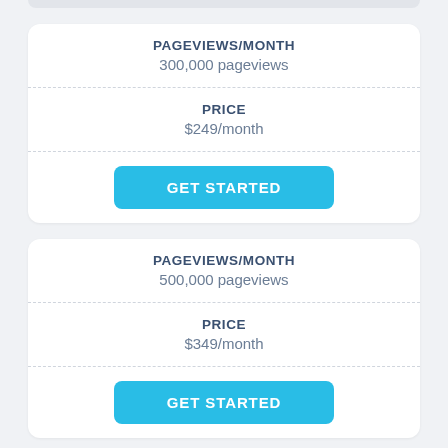PAGEVIEWS/MONTH
300,000 pageviews
PRICE
$249/month
GET STARTED
PAGEVIEWS/MONTH
500,000 pageviews
PRICE
$349/month
GET STARTED